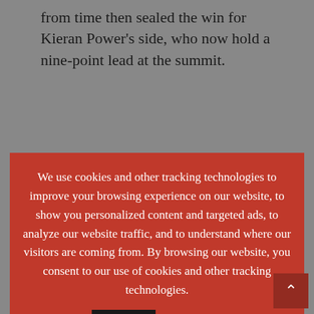from time then sealed the win for Kieran Power’s side, who now hold a nine-point lead at the summit.
We use cookies and other tracking technologies to improve your browsing experience on our website, to show you personalized content and targeted ads, to analyze our website traffic, and to understand where our visitors are coming from. By browsing our website, you consent to our use of cookies and other tracking technologies.
Accept
Read More
encounter at Voke Park, but it was the hosts who came away with a 27-21 win to enhance their own promotion bid. Joe Tarrant’s try for the Blood and Sand proved to be the